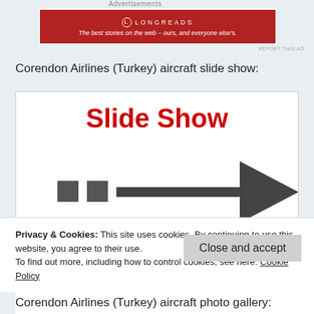Advertisements
[Figure (other): Longreads advertisement banner: red background with white text 'LONGREADS' and tagline 'The best stories on the web – ours, and everyone else's.']
REPORT THIS AD
Corendon Airlines (Turkey) aircraft slide show:
[Figure (screenshot): Slide Show widget with large red bold text 'Slide Show' and a dark gray right-pointing arrow with dot indicators below the text.]
Privacy & Cookies: This site uses cookies. By continuing to use this website, you agree to their use.
To find out more, including how to control cookies, see here: Cookie Policy
Close and accept
Corendon Airlines (Turkey) aircraft photo gallery: